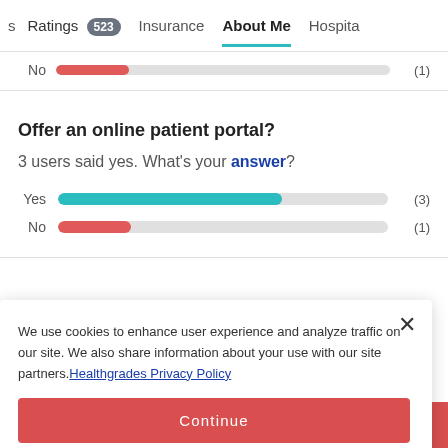Ratings 523 | Insurance | About Me | Hospita
[Figure (bar-chart): No bar (previous section)]
Offer an online patient portal?
3 users said yes. What's your answer?
[Figure (bar-chart): Online patient portal responses]
We use cookies to enhance user experience and analyze traffic on our site. We also share information about your use with our site partners. Healthgrades Privacy Policy
Continue
Access my Privacy Preferences
0-2020